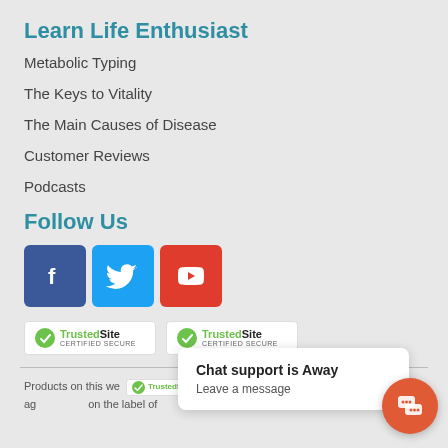Learn Life Enthusiast
Metabolic Typing
The Keys to Vitality
The Main Causes of Disease
Customer Reviews
Podcasts
Follow Us
[Figure (infographic): Social media icons: Facebook (blue), Twitter (light blue), YouTube (red)]
[Figure (infographic): Two TrustedSite Certified Secure badges with green checkmark]
Products on this we... er ag... ts ... on the label of ...
Chat support is Away
Leave a message